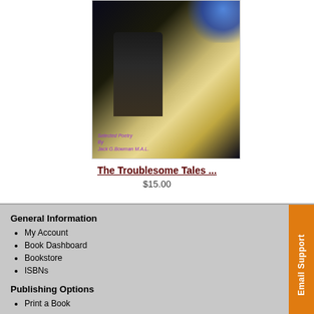[Figure (photo): Book cover showing a dark figure walking, with blue light at top and warm golden tones. Purple text reads 'Selected Poetry By Jack G. Bowman M.A.L.']
The Troublesome Tales ...
$15.00
General Information
My Account
Book Dashboard
Bookstore
ISBNs
Publishing Options
Print a Book
Email Support